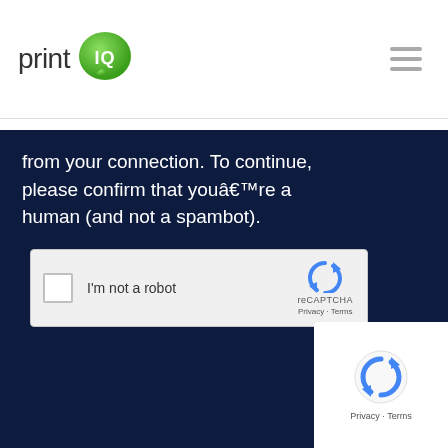[Figure (logo): print IQ logo with green speech bubble containing IQ text]
from your connection. To continue, please confirm that youâ€™re a human (and not a spambot).
[Figure (screenshot): reCAPTCHA widget with checkbox labeled I'm not a robot and reCAPTCHA branding]
[Figure (screenshot): reCAPTCHA popup overlay in bottom right corner showing reCAPTCHA logo and Privacy Terms links]